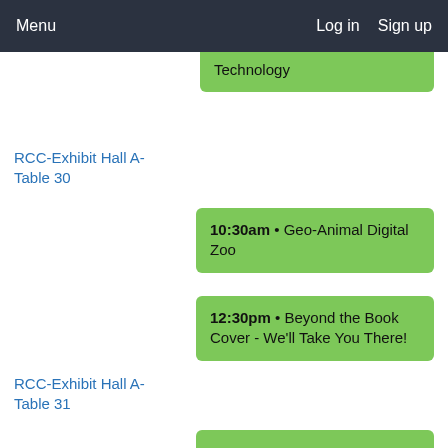Menu   Log in   Sign up
...p...g...y Technology
RCC-Exhibit Hall A-Table 30
10:30am • Geo-Animal Digital Zoo
12:30pm • Beyond the Book Cover - We'll Take You There!
RCC-Exhibit Hall A-Table 31